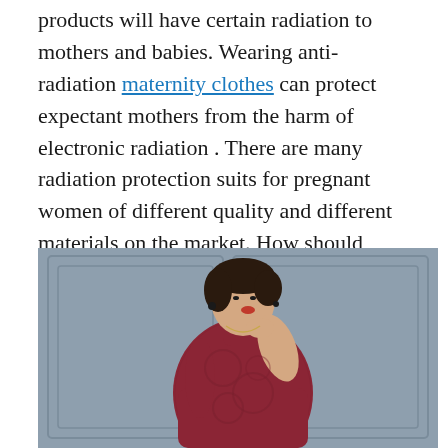products will have certain radiation to mothers and babies. Wearing anti-radiation maternity clothes can protect expectant mothers from the harm of electronic radiation . There are many radiation protection suits for pregnant women of different quality and different materials on the market. How should pregnant mothers choose suitable radiation protection maternity clothes?
[Figure (photo): A woman wearing a dark red/burgundy patterned turtleneck long-sleeve dress, posing against a grey paneled wall background. Her face is partially obscured.]